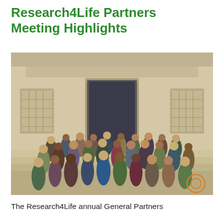Research4Life Partners Meeting Highlights
[Figure (photo): Group photo of Research4Life annual General Partners meeting attendees standing on the steps of a large limestone building with decorative stone facade, doorway in background, approximately 40-50 people, sunny day.]
The Research4Life annual General Partners